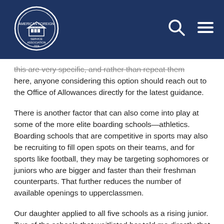American Foreign Service Association header with logo, search and menu icons
this are very specific, and rather than repeat them here, anyone considering this option should reach out to the Office of Allowances directly for the latest guidance.
There is another factor that can also come into play at some of the more elite boarding schools—athletics. Boarding schools that are competitive in sports may also be recruiting to fill open spots on their teams, and for sports like football, they may be targeting sophomores or juniors who are bigger and faster than their freshman counterparts. That further reduces the number of available openings to upperclassmen.
Our daughter applied to all five schools as a rising junior. Two of the schools that waitlisted her told me directly that she would have been admitted had she applied as a sophomore. Furthermore, the school she